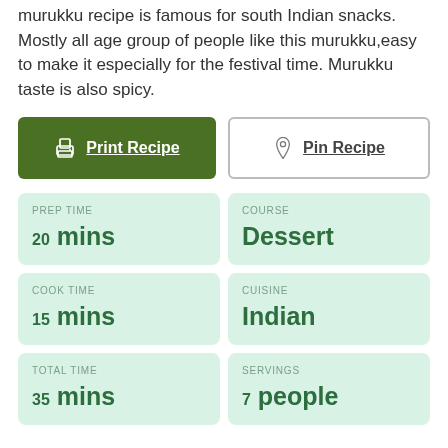murukku recipe is famous for south Indian snacks. Mostly all age group of people like this murukku,easy to make it especially for the festival time. Murukku taste is also spicy.
Print Recipe | Pin Recipe
|  |  |
| --- | --- |
| PREP TIME
20 mins | COURSE
Dessert |
| COOK TIME
15 mins | CUISINE
Indian |
| TOTAL TIME
35 mins | SERVINGS
7 people |